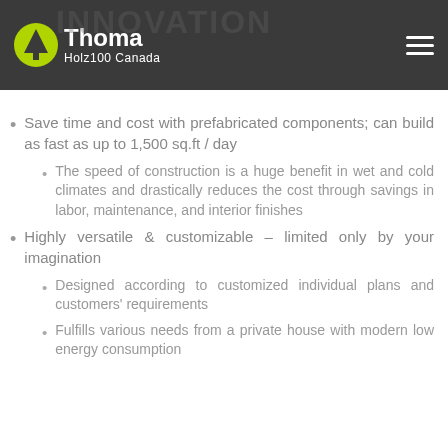Thoma Holz100 Canada
Save time and cost with prefabricated components; can build as fast as up to 1,500 sq.ft / day
The speed of construction is a huge benefit in wet and cold climates and drastically reduces the cost through savings in labor, maintenance, and interior finishes
Highly versatile & customizable – limited only by your imagination
Designed according to customized individual plans and customers' requirements
Fulfills various needs from a private house with modern low energy consumption